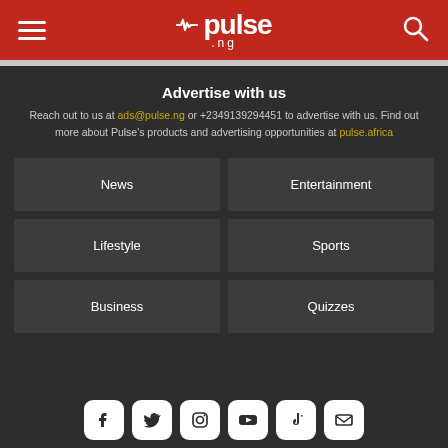pulse.ng
Advertise with us
Reach out to us at ads@pulse.ng or +2349139294451 to advertise with us. Find out more about Pulse's products and advertising opportunities at pulse.africa
News
Entertainment
Lifestyle
Sports
Business
Quizzes
[Figure (infographic): Social media icons row: Facebook, Twitter, Instagram, YouTube, TikTok, Email]